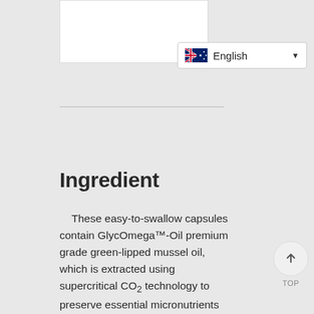[Figure (photo): Product image box (partially visible at top of page)]
[Figure (screenshot): Language selector dropdown showing Australian flag and 'English' with dropdown arrow]
Ingredient
These easy-to-swallow capsules contain GlycOmega™-Oil premium grade green-lipped mussel oil, which is extracted using supercritical CO₂ technology to preserve essential micronutrients for maximum